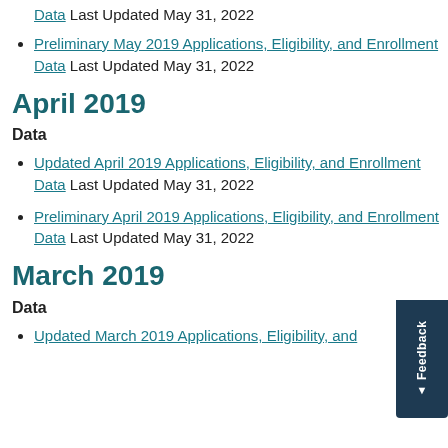Data Last Updated May 31, 2022
Preliminary May 2019 Applications, Eligibility, and Enrollment Data Last Updated May 31, 2022
April 2019
Data
Updated April 2019 Applications, Eligibility, and Enrollment Data Last Updated May 31, 2022
Preliminary April 2019 Applications, Eligibility, and Enrollment Data Last Updated May 31, 2022
March 2019
Data
Updated March 2019 Applications, Eligibility, and